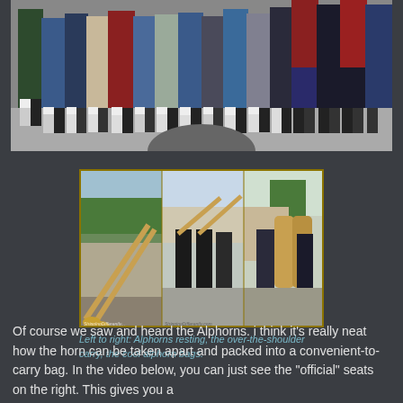[Figure (photo): Group photo of people in traditional Swiss/Austrian folk costumes (dirndls and lederhosen), standing in a row, lower half of bodies visible showing colorful skirts and shoes.]
[Figure (photo): Three-panel composite photo showing alphorns: left panel shows alphorns resting diagonally, middle panel shows people carrying alphorns over their shoulder, right panel shows people carrying alphorn bags.]
Left to right: Alphorns resting, the over-the-shoulder carry, the cool alphorn bags.
Of course we saw and heard the Alphorns. i think it's really neat how the horn can be taken apart and packed into a convenient-to-carry bag. In the video below, you can just see the "official" seats on the right. This gives you a